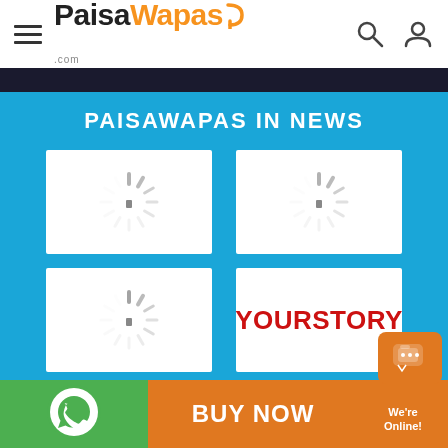PaisaWapas.com
PAISAWAPAS IN NEWS
[Figure (logo): Loading spinner placeholder logo (top-left)]
[Figure (logo): Loading spinner placeholder logo (top-right)]
[Figure (logo): Loading spinner placeholder logo (bottom-left)]
[Figure (logo): YourStory logo]
[Figure (logo): Inc42 logo]
[Figure (logo): WhatsApp icon]
BUY NOW
We're Online!